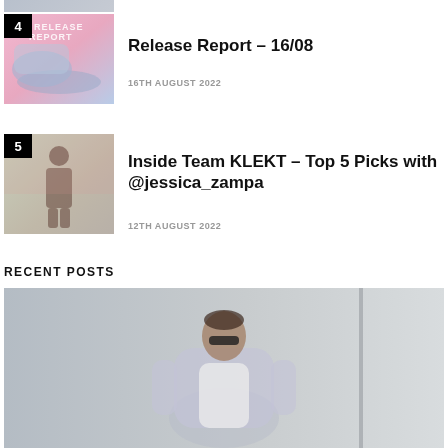[Figure (photo): Partial thumbnail of article 4, shoes on pink background (top sliver)]
[Figure (photo): Thumbnail image numbered 4: sneakers on pink/blue gradient background]
Release Report – 16/08
16TH AUGUST 2022
[Figure (photo): Thumbnail image numbered 5: person in brown outfit standing by pink wall]
Inside Team KLEKT – Top 5 Picks with @jessica_zampa
12TH AUGUST 2022
RECENT POSTS
[Figure (photo): Large photo of man in lavender/white jacket with sunglasses against grey wall]